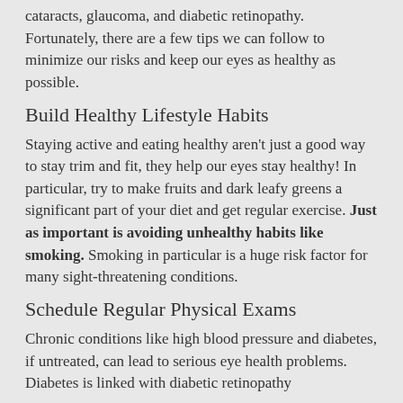cataracts, glaucoma, and diabetic retinopathy. Fortunately, there are a few tips we can follow to minimize our risks and keep our eyes as healthy as possible.
Build Healthy Lifestyle Habits
Staying active and eating healthy aren't just a good way to stay trim and fit, they help our eyes stay healthy! In particular, try to make fruits and dark leafy greens a significant part of your diet and get regular exercise. Just as important is avoiding unhealthy habits like smoking. Smoking in particular is a huge risk factor for many sight-threatening conditions.
Schedule Regular Physical Exams
Chronic conditions like high blood pressure and diabetes, if untreated, can lead to serious eye health problems. Diabetes is linked with diabetic retinopathy and low blood sugar, so the same symptoms without treated